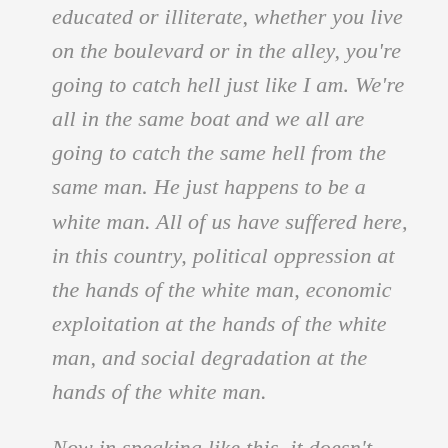educated or illiterate, whether you live on the boulevard or in the alley, you're going to catch hell just like I am. We're all in the same boat and we all are going to catch the same hell from the same man. He just happens to be a white man. All of us have suffered here, in this country, political oppression at the hands of the white man, economic exploitation at the hands of the white man, and social degradation at the hands of the white man.
Now in speaking like this, it doesn't mean that we're anti-white, but it does mean we're anti-exploitation, we're anti-